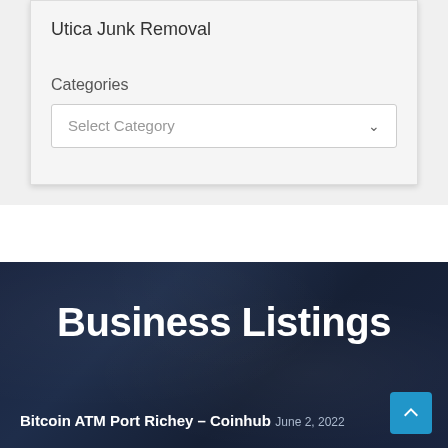Utica Junk Removal
Categories
Select Category
Business Listings
Bitcoin ATM Port Richey – Coinhub
June 2, 2022